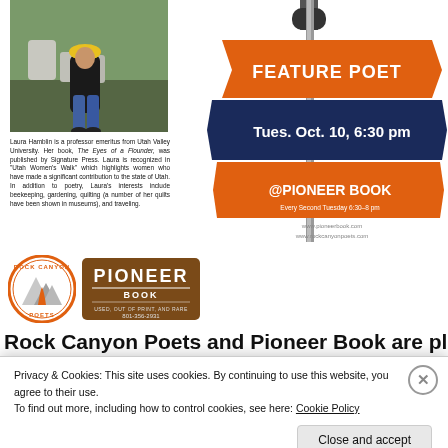[Figure (photo): Photo of Laura Hamblin standing in front of a gravestone in a cemetery, wearing a yellow hat and dark jacket]
Laura Hamblin is a professor emeritus from Utah Valley University. Her book, The Eyes of a Flounder, was published by Signature Press. Laura is recognized in "Utah Women's Walk" which highlights women who have made a significant contribution to the state of Utah. In addition to poetry, Laura's interests include beekeeping, gardening, quilting (a number of her quilts have been shown in museums), and traveling.
[Figure (logo): Rock Canyon Poets circular logo with mountain peaks and orange flame]
[Figure (logo): Pioneer Book logo - brown rectangular logo with text PIONEER BOOK, USED, OUT OF PRINT, AND RARE, 801-356-2931]
[Figure (illustration): Decorative street sign post graphic with orange and navy blue signs reading: FEATURE POET, Tues. Oct. 10, 6:30 pm, @PIONEER BOOK, Every Second Tuesday 6:30-8 pm, www.pioneerbook.com, www.rockcanyonpoets.com]
Rock Canyon Poets and Pioneer Book are please to
Privacy & Cookies: This site uses cookies. By continuing to use this website, you agree to their use.
To find out more, including how to control cookies, see here: Cookie Policy
Close and accept